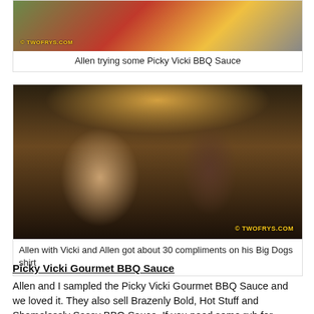[Figure (photo): Photo of Allen trying Picky Vicki BBQ Sauce, with twofrys.com watermark]
Allen trying some Picky Vicki BBQ Sauce
[Figure (photo): Allen with Vicki, both smiling. Allen wears a Big Dogs patterned shirt. Taken at an expo/event hall. twofrys.com watermark.]
Allen with Vicki and Allen got about 30 compliments on his Big Dogs shirt
Picky Vicki Gourmet BBQ Sauce
Allen and I sampled the Picky Vicki Gourmet BBQ Sauce and we loved it. They also sell Brazenly Bold, Hot Stuff and Shamelessly Sassy BBQ Sauce. If you need some rub for